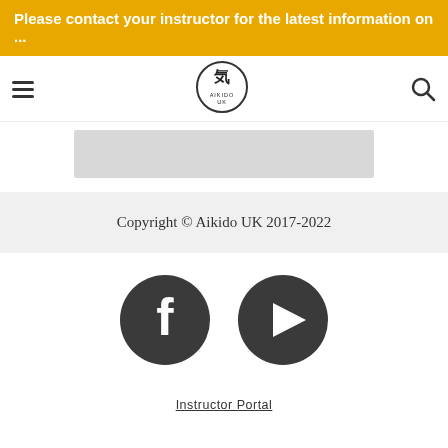Please contact your instructor for the latest information on ...
[Figure (logo): Aikido UK logo — circular emblem with Japanese character and text 'AIKIDO UK']
[Figure (photo): Gray placeholder image / hero image area]
Copyright © Aikido UK 2017-2022
[Figure (logo): Facebook social media icon — dark circle with white 'f' letter]
[Figure (logo): YouTube social media icon — dark circle with white play button triangle]
Instructor Portal